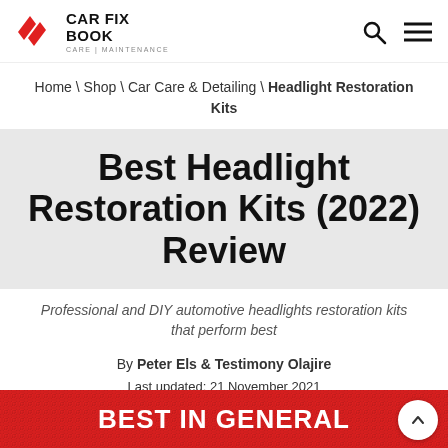CAR FIX BOOK — CARE | MAINTENANCE
Home \ Shop \ Car Care & Detailing \ Headlight Restoration Kits
Best Headlight Restoration Kits (2022) Review
Professional and DIY automotive headlights restoration kits that perform best
By Peter Els & Testimony Olajire
Last updated: 21 November 2021
BEST IN GENERAL